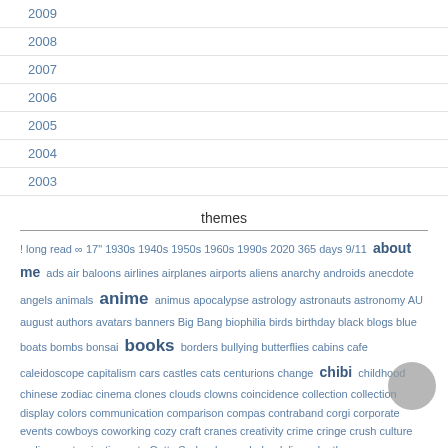2009
2008
2007
2006
2005
2004
2003
themes
! long read ∞ 17" 1930s 1940s 1950s 1960s 1990s 2020 365 days 9/11 about me ads air baloons airlines airplanes airports aliens anarchy androids anecdote angels animals anime animus apocalypse astrology astronauts astronomy AU august authors avatars banners Big Bang biophilia birds birthday black blogs blue boats bombs bonsai books borders bullying butterflies cabins cafe caleidoscope capitalism cars castles cats centurions change chibi childhood chinese zodiac cinema clones clouds clowns coincidence collection collection display colors communication comparison compas contraband corgi corporate events cowboys coworking cozy craft cranes creativity crime cringe crush culture curling customization cute Cutty Sark cyberpunk dandelions death